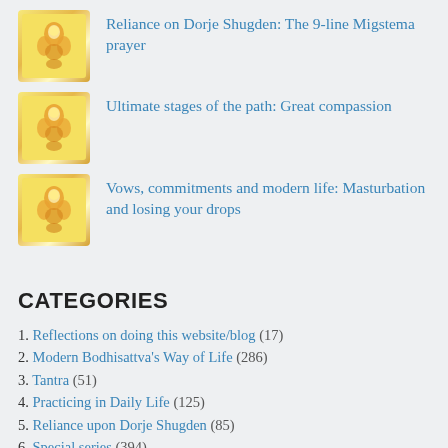Reliance on Dorje Shugden: The 9-line Migstema prayer
Ultimate stages of the path: Great compassion
Vows, commitments and modern life: Masturbation and losing your drops
CATEGORIES
1. Reflections on doing this website/blog (17)
2. Modern Bodhisattva's Way of Life (286)
3. Tantra (51)
4. Practicing in Daily Life (125)
5. Reliance upon Dorje Shugden (85)
6. Special series (394)
Activating our inner Spiritual Guide (18)
Advice from Atisha's Heart (11)